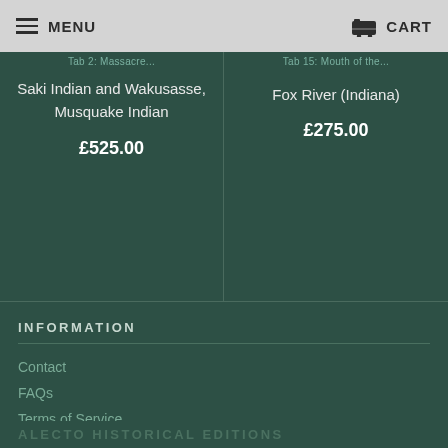MENU | CART
Saki Indian and Wakusasse, Musquake Indian
£525.00
Fox River (Indiana)
£275.00
INFORMATION
Contact
FAQs
Terms of Service
Privacy Policy
Returns
ALECTO HISTORICAL EDITIONS